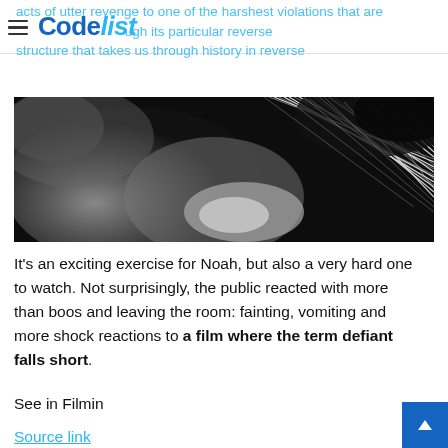CodeList
acts of utter revenge to one of the harshest violations that are...ugh its particular reverse structure that takes us through history in reverse
[Figure (photo): Close-up black and white photograph of a person's head/hair from above, showing scalp and hair strands in high contrast monochrome]
It's an exciting exercise for Noah, but also a very hard one to watch. Not surprisingly, the public reacted with more than boos and leaving the room: fainting, vomiting and more shock reactions to a film where the term defiant falls short.
See in Filmin
Source link